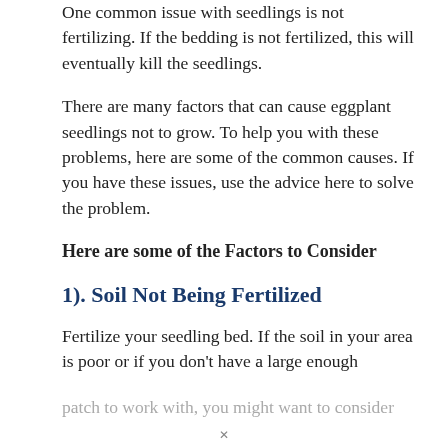One common issue with seedlings is not fertilizing. If the bedding is not fertilized, this will eventually kill the seedlings.
There are many factors that can cause eggplant seedlings not to grow. To help you with these problems, here are some of the common causes. If you have these issues, use the advice here to solve the problem.
Here are some of the Factors to Consider
1). Soil Not Being Fertilized
Fertilize your seedling bed. If the soil in your area is poor or if you don't have a large enough patch to work with, you might want to consider